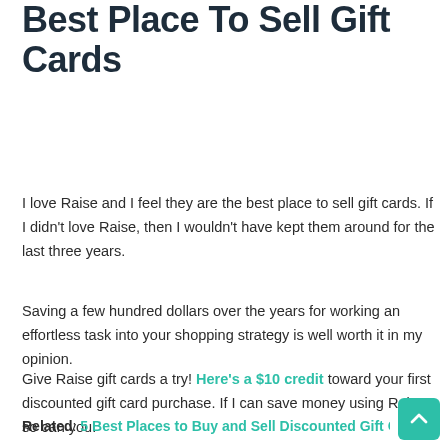Best Place To Sell Gift Cards
I love Raise and I feel they are the best place to sell gift cards. If I didn't love Raise, then I wouldn't have kept them around for the last three years.
Saving a few hundred dollars over the years for working an effortless task into your shopping strategy is well worth it in my opinion.
Give Raise gift cards a try! Here's a $10 credit toward your first discounted gift card purchase. If I can save money using Raise, so can you.
Related: 5 Best Places to Buy and Sell Discounted Gift Cards